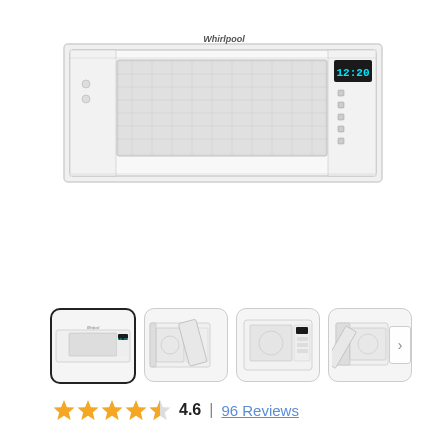[Figure (photo): Main product image of a Whirlpool white low-profile over-the-range microwave, front view, showing mesh window, digital display reading 12:20, and control buttons on right side.]
[Figure (photo): Thumbnail 1 (selected): Front view of white Whirlpool low-profile microwave.]
[Figure (photo): Thumbnail 2: Angled view of white Whirlpool microwave with door open, interior visible.]
[Figure (photo): Thumbnail 3: Close-up of white Whirlpool microwave interior with door open, control panel visible.]
[Figure (photo): Thumbnail 4: Side-angle view of white Whirlpool microwave with door open.]
4.6 | 96 Reviews